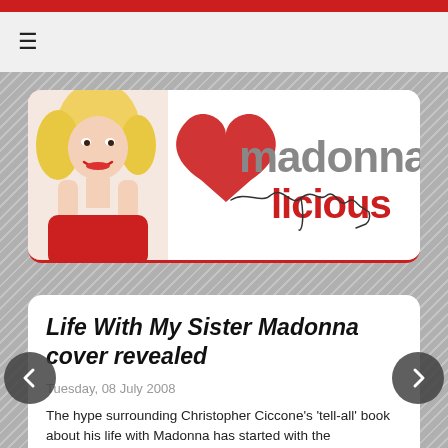madonnalicious - website header with logo
[Figure (logo): Madonalicious website logo banner featuring a photo of Madonna in red, a red heart illustration, and the site name 'madonalicious' in stylized grey and red text with a handwritten signature]
Life With My Sister Madonna cover revealed
Tuesday, 08 July 2008
The hype surrounding Christopher Ciccone's 'tell-all' book about his life with Madonna has started with the